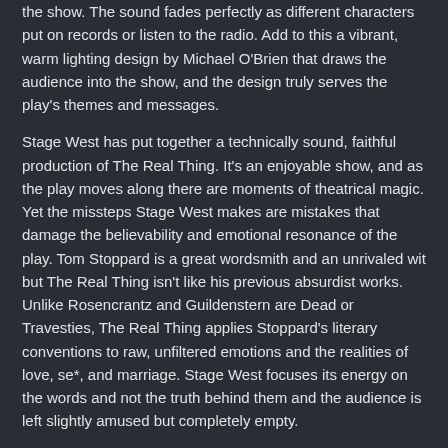the show. The sound fades perfectly as different characters put on records or listen to the radio. Add to this a vibrant, warm lighting design by Michael O'Brien that draws the audience into the show, and the design truly serves the play's themes and messages.
Stage West has put together a technically sound, faithful production of The Real Thing. It's an enjoyable show, and as the play moves along there are moments of theatrical magic. Yet the missteps Stage West makes are mistakes that damage the believability and emotional resonance of the play. Tom Stoppard is a great wordsmith and an unrivaled wit but The Real Thing isn't like his previous absurdist works. Unlike Rosencrantz and Guildenstern are Dead or Travesties, The Real Thing applies Stoppard's literary conventions to raw, unfiltered emotions and the realities of love, se*, and marriage. Stage West focuses its energy on the words and not the truth behind them and the audience is left slightly amused but completely empty.
THE REAL THING
Stage West Theatre, 821/823 W Vickery Blvd, Fort Worth, Texas